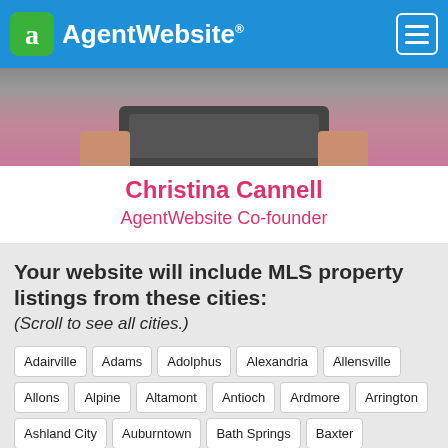AgentWebsite
[Figure (photo): Person holding a tablet device, wearing a pink/magenta top, cropped view showing hands and torso]
Christina Cannell
AgentWebsite Co-founder
Your website will include MLS property listings from these cities:
(Scroll to see all cities.)
Adairville
Adams
Adolphus
Alexandria
Allensville
Allons
Alpine
Altamont
Antioch
Ardmore
Arrington
Ashland City
Auburntown
Bath Springs
Baxter
Beechgrove
Beersheba Springs
Belfast
Bell Buckle